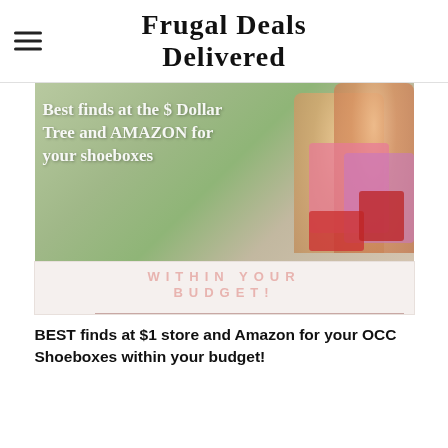Frugal Deals Delivered
[Figure (photo): Two children holding red OCC shoeboxes with text overlay: Best finds at the $ Dollar Tree and AMAZON for your shoeboxes]
[Figure (photo): Partial image with watermark text: WITHIN YOUR BUDGET!]
BEST finds at $1 store and Amazon for your OCC Shoeboxes within your budget!